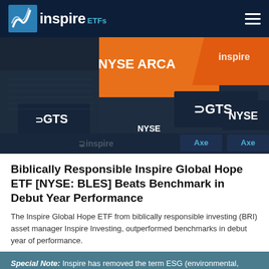inspire ETFs
[Figure (photo): NYSE trading floor with GTS and Inspire branding, orange NYSE ARCA sign prominent, dark blue-toned interior shot]
Biblically Responsible Inspire Global Hope ETF [NYSE: BLES] Beats Benchmark in Debut Year Performance
The Inspire Global Hope ETF from biblically responsible investing (BRI) asset manager Inspire Investing, outperformed benchmarks in debut year of performance.
Special Note: Inspire has removed the term ESG (environmental, social, governance) from the names of its ETF suite. Read more.